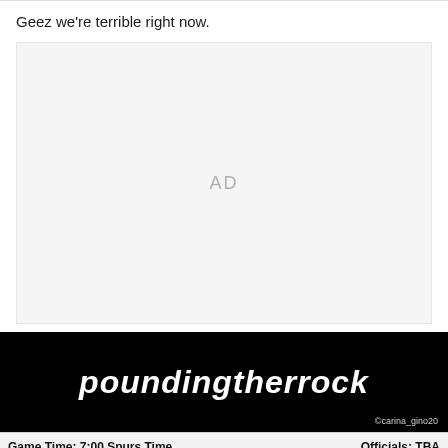Geez we're terrible right now.
[Figure (other): AD placeholder box with light gray background]
[Figure (illustration): Black banner image with white stylized ambigram text reading 'poundingtherock' and credit '@carina_gino20' in bottom right corner]
Game Time: 7:00 Spurs Time	Officials: TBA